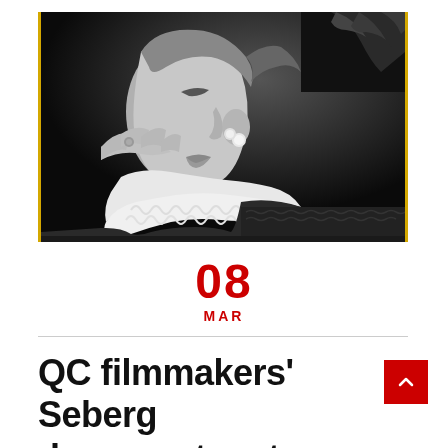[Figure (photo): Black and white profile photograph of a woman with pearl earrings, touching her lips with her fingers, wearing a ruffled white collar and dark textured jacket, with another person's hands visible behind her head]
08
MAR
QC filmmakers' Seberg documentary to have